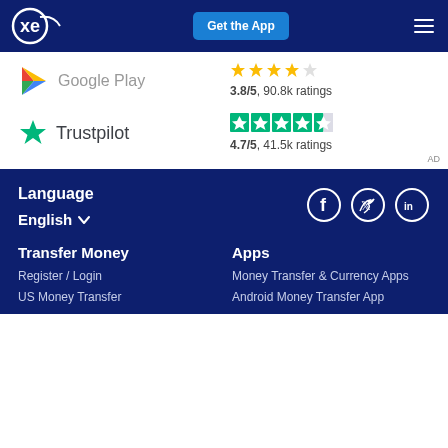XE — Get the App
[Figure (screenshot): Google Play logo with rating: 3.8/5, 90.8k ratings]
[Figure (logo): Trustpilot logo with green star and 4.7/5 star rating, 41.5k ratings]
AD
Language
English
[Figure (infographic): Social media icons: Facebook, Twitter, LinkedIn in circles]
Transfer Money
Register / Login
US Money Transfer
Apps
Money Transfer & Currency Apps
Android Money Transfer App